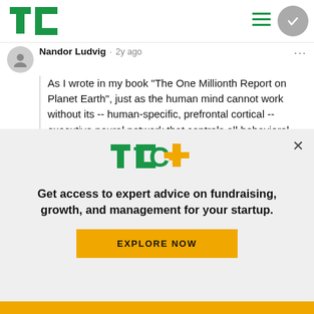TechCrunch header with TC logo, hamburger menu, and check circle
Nandor Ludvig · 2y ago
As I wrote in my book "The One Millionth Report on Planet Earth", just as the human mind cannot work without its -- human-specific, prefrontal cortical -- executive neural network that controls all behavioral outputs on the basis of useful…See more
Reply · 👍 1 👎 · Share
Troy Hamilton · 2y ago
[Figure (screenshot): TechCrunch TC+ promotional overlay with logo, tagline, and Explore Now button]
Get access to expert advice on fundraising, growth, and management for your startup.
EXPLORE NOW